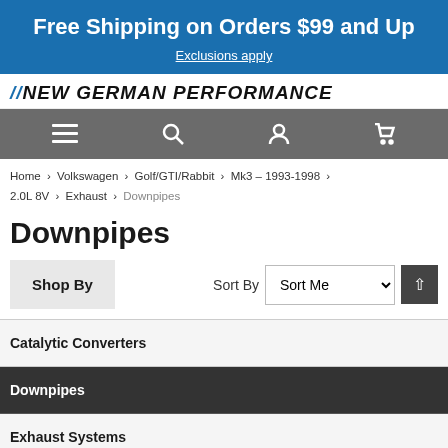Free Shipping on Orders $99 and Up
Exclusions apply
[Figure (logo): New German Performance logo in bold italic uppercase text with double slash marks]
[Figure (screenshot): Navigation bar with hamburger menu, search, account, and cart icons on gray background]
Home > Volkswagen > Golf/GTI/Rabbit > Mk3 - 1993-1998 > 2.0L 8V > Exhaust > Downpipes
Downpipes
Shop By   Sort By   Sort Me ▾ ↑
Catalytic Converters
Downpipes
Exhaust Systems